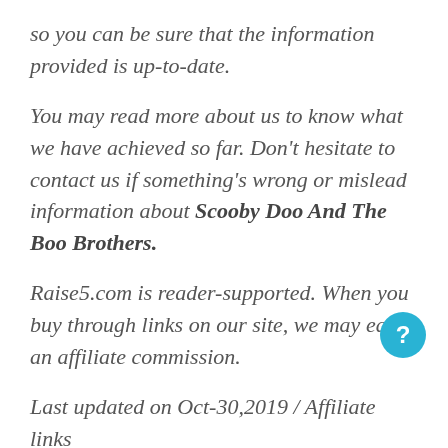so you can be sure that the information provided is up-to-date.
You may read more about us to know what we have achieved so far. Don't hesitate to contact us if something's wrong or mislead information about Scooby Doo And The Boo Brothers.
Raise5.com is reader-supported. When you buy through links on our site, we may earn an affiliate commission.
Last updated on Oct-30,2019 / Affiliate links